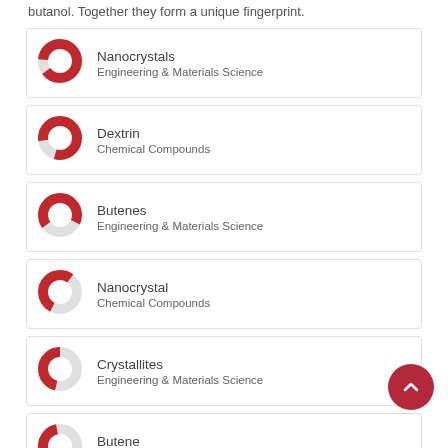butanol. Together they form a unique fingerprint.
Nanocrystals — Engineering & Materials Science
Dextrin — Chemical Compounds
Butenes — Engineering & Materials Science
Nanocrystal — Chemical Compounds
Crystallites — Engineering & Materials Science
Butene — Chemical Compounds